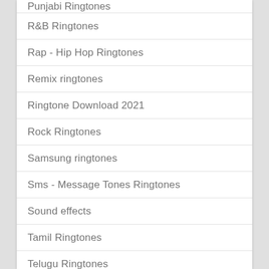Punjabi Ringtones
R&B Ringtones
Rap - Hip Hop Ringtones
Remix ringtones
Ringtone Download 2021
Rock Ringtones
Samsung ringtones
Sms - Message Tones Ringtones
Sound effects
Tamil Ringtones
Telugu Ringtones
Tik Tok Ringtones